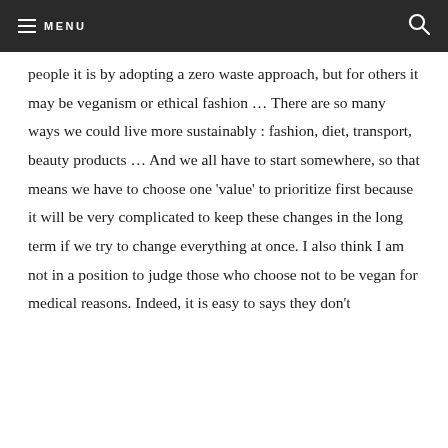MENU
people it is by adopting a zero waste approach, but for others it may be veganism or ethical fashion … There are so many ways we could live more sustainably : fashion, diet, transport, beauty products … And we all have to start somewhere, so that means we have to choose one 'value' to prioritize first because it will be very complicated to keep these changes in the long term if we try to change everything at once. I also think I am not in a position to judge those who choose not to be vegan for medical reasons. Indeed, it is easy to says they don't